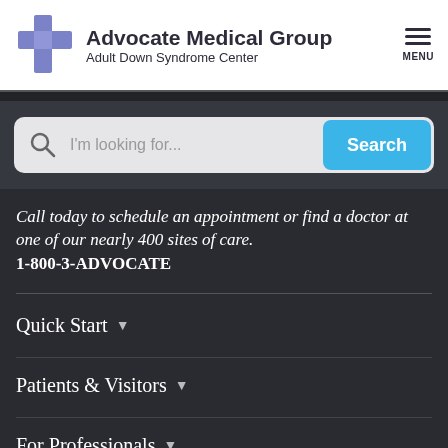Advocate Medical Group Adult Down Syndrome Center
[Figure (logo): Advocate Medical Group blue plus/cross logo with organization name and subtitle]
I'm looking for...
Call today to schedule an appointment or find a doctor at one of our nearly 400 sites of care. 1-800-3-ADVOCATE
Quick Start
Patients & Visitors
For Professionals